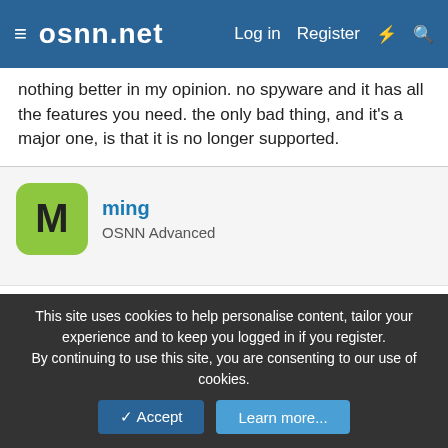osnn.net — Log in  Register
nothing better in my opinion. no spyware and it has all the features you need. the only bad thing, and it's a major one, is that it is no longer supported.
ming
OSNN Advanced
5 Apr 2004  #27
Gary Pandher said:
n what might leechget b..do u use it..explain a lil..wha speeds do you get?..
me i usually get 300kb/s jus regular dloading..unless its a really really slow server..
This site uses cookies to help personalise content, tailor your experience and to keep you logged in if you register.
By continuing to use this site, you are consenting to our use of cookies.